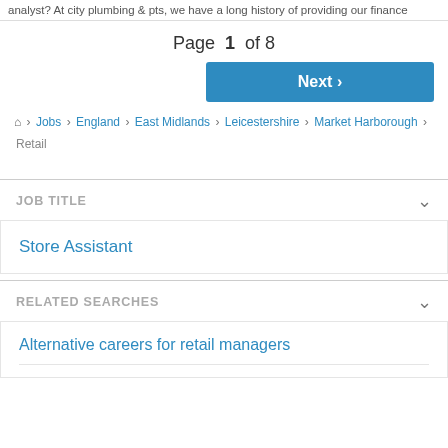analyst? At city plumbing & pts, we have a long history of providing our finance
Page 1 of 8
Next >
🏠 › Jobs › England › East Midlands › Leicestershire › Market Harborough › Retail
JOB TITLE
Store Assistant
RELATED SEARCHES
Alternative careers for retail managers